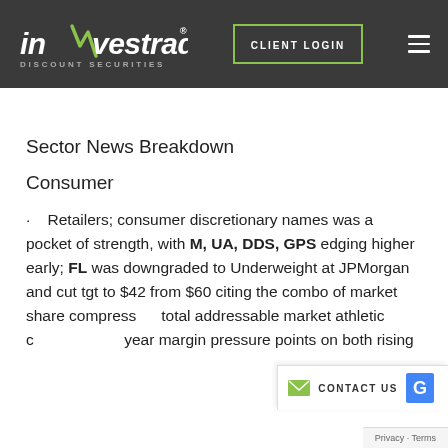investrade DISCOUNT SECURITIES | CLIENT LOGIN
Sector News Breakdown
Consumer
Retailers; consumer discretionary names was a pocket of strength, with M, UA, DDS, GPS edging higher early; FL was downgraded to Underweight at JPMorgan and cut tgt to $42 from $60 citing the combo of market share compress[ion] total addressable market athletic category and [full-] year margin pressure points on both rising